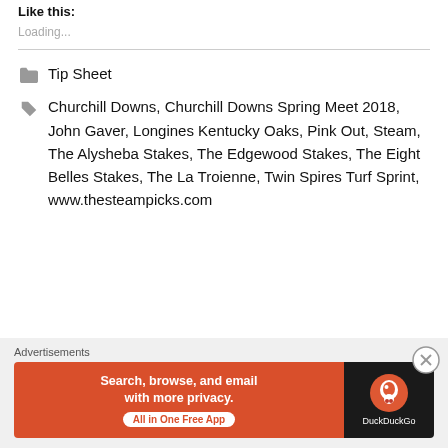Like this:
Loading...
Tip Sheet
Churchill Downs, Churchill Downs Spring Meet 2018, John Gaver, Longines Kentucky Oaks, Pink Out, Steam, The Alysheba Stakes, The Edgewood Stakes, The Eight Belles Stakes, The La Troienne, Twin Spires Turf Sprint, www.thesteampicks.com
Advertisements
[Figure (screenshot): DuckDuckGo advertisement banner: orange left side with text 'Search, browse, and email with more privacy. All in One Free App' and dark right side with DuckDuckGo logo and name.]